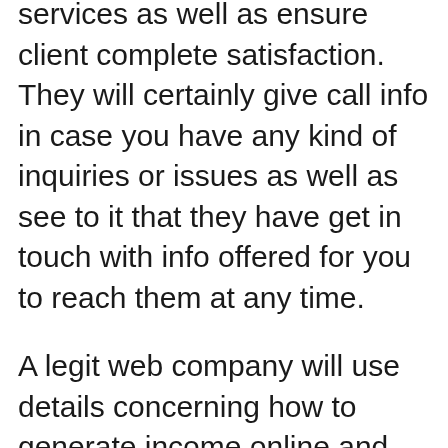services as well as ensure client complete satisfaction. They will certainly give call info in case you have any kind of inquiries or issues as well as see to it that they have get in touch with info offered for you to reach them at any time.
A legit web company will use details concerning how to generate income online and also how much it will certainly require to begin. They will certainly let you understand in advance the quantity of job involved and also show you some instances to show you just how simple it is to earn money on the internet. They will certainly let you find out about scams and also let you make an educated decision concerning whether or not the business possibility is actually worth the